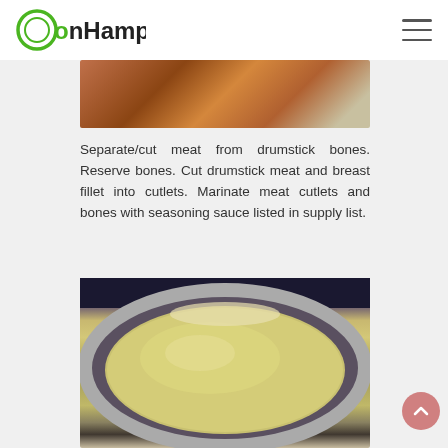onHampton
[Figure (photo): Partial photo of food items including what appears to be cooked meat or vegetables, cropped at top]
Separate/cut meat from drumstick bones. Reserve bones. Cut drumstick meat and breast fillet into cutlets. Marinate meat cutlets and bones with seasoning sauce listed in supply list.
[Figure (photo): Photo of a round stainless steel pan/bowl containing what appears to be a light-colored liquid or batter, sitting on a surface]